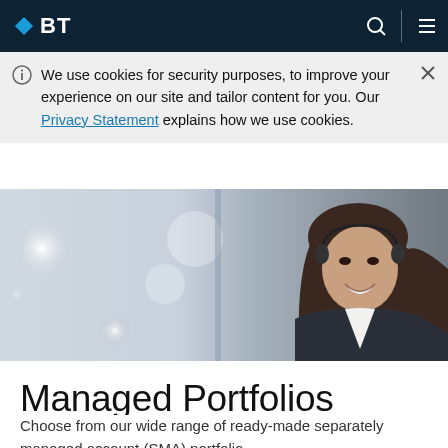BT
We use cookies for security purposes, to improve your experience on our site and tailor content for you. Our Privacy Statement explains how we use cookies.
[Figure (photo): A smiling businesswoman with dark hair, wearing a headset and dark blazer, photographed in an office environment with blurred bokeh background lighting on the left side.]
Managed Portfolios
Choose from our wide range of ready-made separately managed account (SMA) portfolio